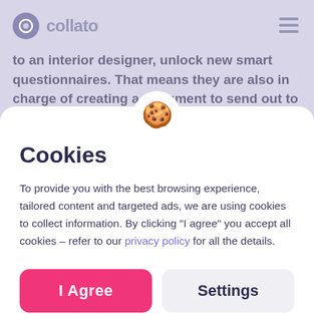[Figure (screenshot): Blurred background showing Collato app interface with logo and partial text about interior designer questionnaires]
[Figure (illustration): Cookie emoji icon in white circular badge at top of modal]
Cookies
To provide you with the best browsing experience, tailored content and targeted ads, we are using cookies to collect information. By clicking “I agree” you accept all cookies – refer to our privacy policy for all the details.
I Agree
Settings